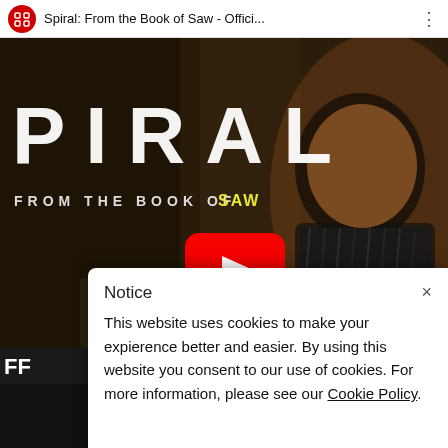[Figure (screenshot): YouTube video thumbnail for 'Spiral: From the Book of Saw - Official...' showing a man in a striped shirt seated at a table with a play button overlay. The movie title 'SPIRAL' and 'FROM THE BOOK OF SAW' are displayed over a dark cinematic backdrop.]
Notice
This website uses cookies to make your expierence better and easier. By using this website you consent to our use of cookies. For more information, please see our Cookie Policy.